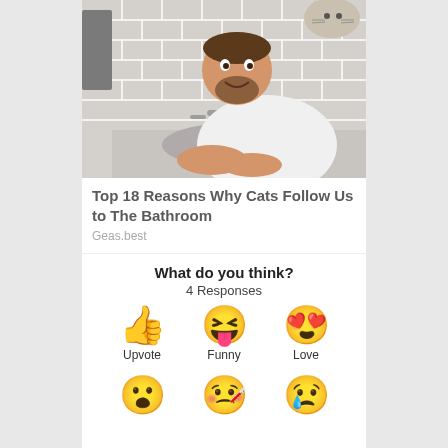[Figure (photo): A man in a white long-sleeve shirt washing his hands at a bathroom sink, smiling at the camera. A cat is visible in the upper right corner. White subway tile background with chrome faucets and a grey towel.]
Top 18 Reasons Why Cats Follow Us to The Bathroom
Geas.best
What do you think?
4 Responses
[Figure (infographic): Three emoji reaction buttons: Thumbs up (Upvote), Squinting face with tongue (Funny), Smiling face with heart eyes (Love)]
[Figure (infographic): Three more emoji reaction buttons partially visible at bottom: Surprised face, Crying with mask face, Sad face with tear]